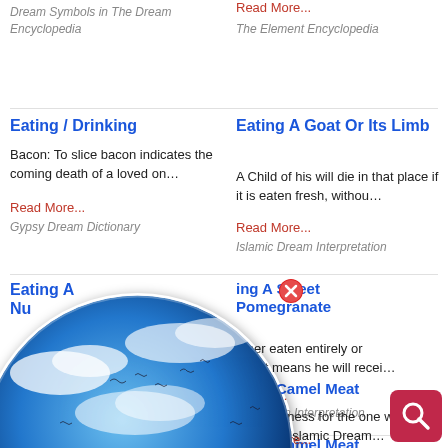Dream Symbols in The Dream Encyclopedia
Read More...
The Element Encyclopedia
Eating / Drinking
Bacon: To slice bacon indicates the coming death of a loved on…
Read More...
Gypsy Dream Dictionary
Eating A Goat Or Its Limb
A Child of his will die in that place if it is eaten fresh, withou…
Read More...
Islamic Dream Interpretation
Eating A Nu…
ing A Sweet Pomegranate
ether eaten entirely or ally, it means he will recei…
d More...
nic Dream Interpretation
[Figure (logo): Dream Encyclopedia globe logo with blue sky and clouds, birds, and text 'Dream Encyclopedia' overlaid]
ating Camel Meat
means illness for the one who eats it.... Islamic Dream…
Read More...